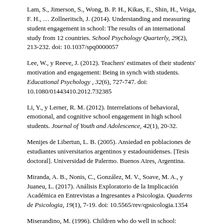Lam, S., Jimerson, S., Wong, B. P. H., Kikas, E., Shin, H., Veiga, F. H., … Zollneritsch, J. (2014). Understanding and measuring student engagement in school: The results of an international study from 12 countries. School Psychology Quarterly, 29(2), 213-232. doi: 10.1037/spq0000057
Lee, W., y Reeve, J. (2012). Teachers' estimates of their students' motivation and engagement: Being in synch with students. Educational Psychology , 32(6), 727-747. doi: 10.1080/01443410.2012.732385
Li, Y., y Lerner, R. M. (2012). Interrelations of behavioral, emotional, and cognitive school engagement in high school students. Journal of Youth and Adolescence, 42(1), 20-32.
Menijes de Libertun, L. B. (2005). Ansiedad en poblaciones de estudiantes universitarios argentinos y estadounidenses. [Tesis doctoral]. Universidad de Palermo. Buenos Aires, Argentina.
Miranda, A. B., Nonis, C., González, M. V., Soave, M. A., y Juaneu, L. (2017). Análisis Exploratorio de la Implicación Académica en Entrevistas a Ingresantes a Psicologia. Quaderns de Psicologia, 19(1), 7-19. doi: 10.5565/rev/qpsicologia.1354
Miserandino, M. (1996). Children who do well in school: Individual differences in perceived competence and autonomy in above-average children. Journal of Educational Psychology, 88(2), 203-214. doi:10.1037/0022-